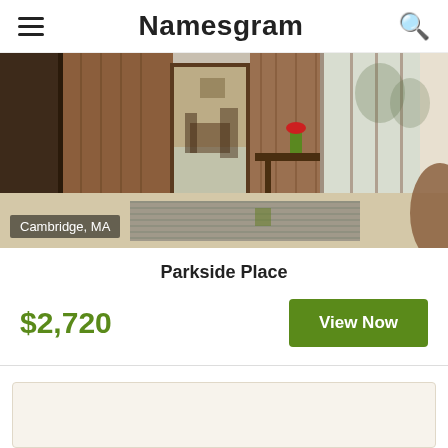Namesgram
[Figure (photo): Interior lobby of Parkside Place apartment building in Cambridge, MA. Shows warm wood-paneled walls, a dining area visible through glass doors on the left, a console table in the center, large windows at the back, a ribbed carpet runner, and a curved reception desk on the right.]
Cambridge, MA
Parkside Place
$2,720
View Now